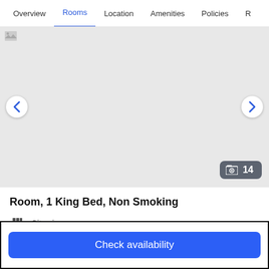Overview  Rooms  Location  Amenities  Policies  R
[Figure (photo): Hotel room photo carousel with navigation arrows and a photo count badge showing 14 photos]
Room, 1 King Bed, Non Smoking
City view
Sleeps 3
1 King Bed
More details >
Check availability